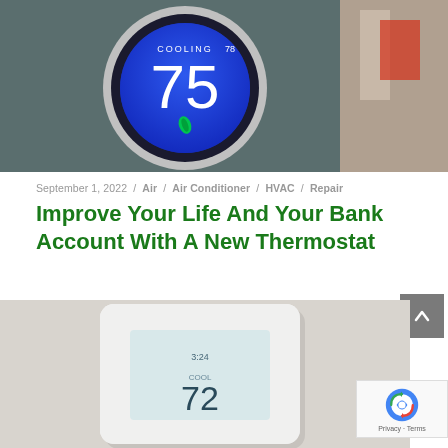[Figure (photo): Close-up photo of a Nest smart thermostat mounted on a gray wall, showing blue circular display with the number 75 and 'COOLING' text, with a green leaf icon. A room interior is partially visible in the background.]
September 1, 2022 / Air / Air Conditioner / HVAC / Repair
Improve Your Life And Your Bank Account With A New Thermostat
[Figure (photo): Photo of a white rectangular smart thermostat mounted on a light gray wall, showing a digital display with temperature reading around 72.]